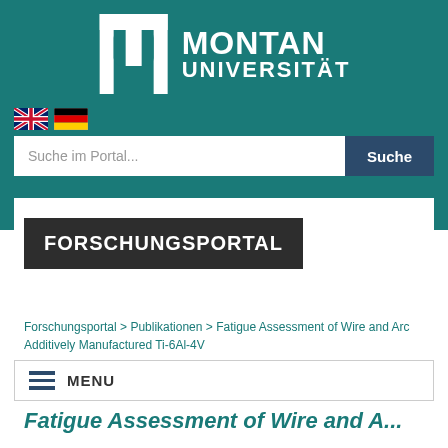[Figure (logo): Montan Universität logo with stylized M icon and text MONTAN UNIVERSITÄT on teal background]
[Figure (infographic): UK flag and German flag icons for language selection]
Suche im Portal...
Suche
FORSCHUNGSPORTAL
Forschungsportal > Publikationen > Fatigue Assessment of Wire and Arc Additively Manufactured Ti-6Al-4V
MENU
Fatigue Assessment of Wire and A...